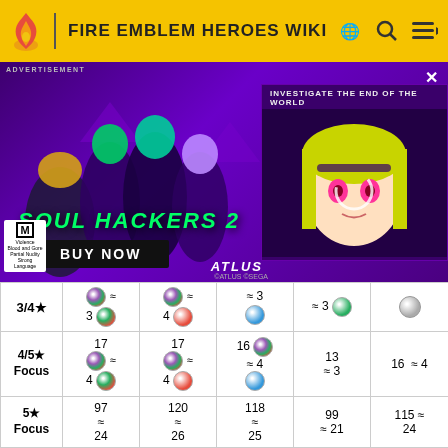FIRE EMBLEM HEROES WIKI
[Figure (photo): Soul Hackers 2 advertisement banner with anime characters and 'BUY NOW' button, published by ATLUS]
|  | Col1 | Col2 | Col3 | Col4 | Col5 |
| --- | --- | --- | --- | --- | --- |
| 3/4★ | ≈ 3 [multi orb] | ≈ 4 [red orb] | ≈ 3 [blue orb] | ≈ 3 [green orb] | [gray orb] |
| 4/5★ Focus | 17 [multi] ≈ 4 | 17 [multi] ≈ 4 | 16 [multi] ≈ 4 [blue] | 13 ≈ 3 | 16 ≈ 4 |
| 5★ Focus | 97 ≈ 24 | 120 ≈ 26 | 118 ≈ 25 | 99 ≈ 21 | 115 ≈ 24 |